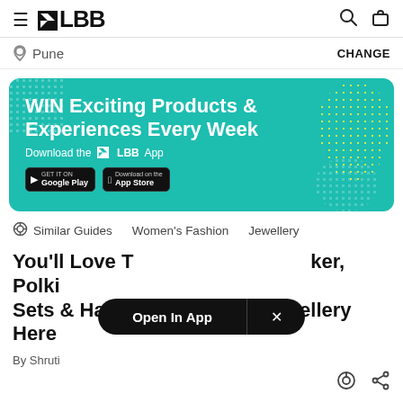LBB — hamburger menu, search, bag icons
Pune   CHANGE
[Figure (infographic): Teal banner: WIN Exciting Products & Experiences Every Week. Download the LBB App. Google Play and App Store buttons. Dotted decorative patterns.]
Similar Guides   Women's Fashion   Jewellery
You'll Love T... ker, Polki Sets & Handcrafted Bridal Jewellery Here
By Shruti
Open In App   ×